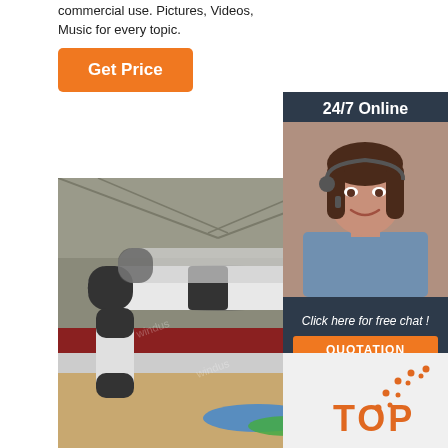commercial use. Pictures, Videos, Music for every topic.
Get Price
[Figure (photo): Inflatable arch/tunnel structures in black and white displayed inside a large warehouse or sports hall with wooden floor]
[Figure (photo): 24/7 Online customer service representative - woman with headset smiling]
24/7 Online
Click here for free chat !
QUOTATION
[Figure (infographic): TOP badge with dotted arc decoration in orange]